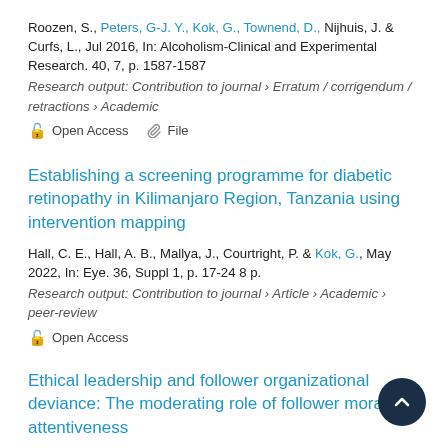Roozen, S., Peters, G-J. Y., Kok, G., Townend, D., Nijhuis, J. & Curfs, L., Jul 2016, In: Alcoholism-Clinical and Experimental Research. 40, 7, p. 1587-1587
Research output: Contribution to journal › Erratum / corrigendum / retractions › Academic
Open Access   File
Establishing a screening programme for diabetic retinopathy in Kilimanjaro Region, Tanzania using intervention mapping
Hall, C. E., Hall, A. B., Mallya, J., Courtright, P. & Kok, G., May 2022, In: Eye. 36, Suppl 1, p. 17-24 8 p.
Research output: Contribution to journal › Article › Academic › peer-review
Open Access
Ethical leadership and follower organizational deviance: The moderating role of follower moral attentiveness